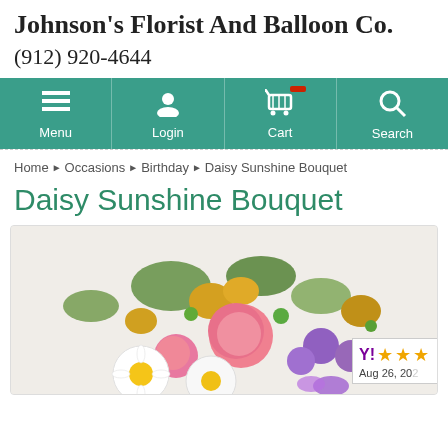Johnson's Florist And Balloon Co.
(912) 920-4644
[Figure (screenshot): Navigation bar with teal background showing Menu, Login, Cart, and Search icons with labels]
Home ▸ Occasions ▸ Birthday ▸ Daisy Sunshine Bouquet
Daisy Sunshine Bouquet
[Figure (photo): Photo of a colorful flower bouquet featuring pink roses, white daisies, yellow alstroemeria, purple flowers with green accents. A rating badge shows 3 stars and date Aug 26, 20...]